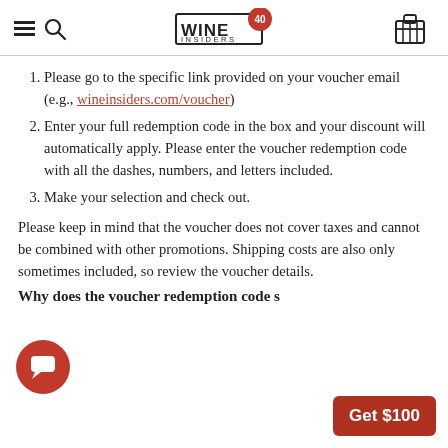Wine Insiders 40 Years
Please go to the specific link provided on your voucher email (e.g., wineinsiders.com/voucher)
Enter your full redemption code in the box and your discount will automatically apply. Please enter the voucher redemption code with all the dashes, numbers, and letters included.
Make your selection and check out.
Please keep in mind that the voucher does not cover taxes and cannot be combined with other promotions. Shipping costs are also only sometimes included, so review the voucher details.
Why does the voucher redemption code s